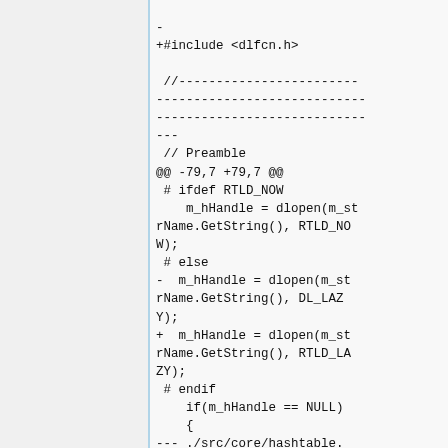-
+#include <dlfcn.h>

 //----------------------------------------------------------------------------------------
 // Preamble
@@ -79,7 +79,7 @@
 # ifdef RTLD_NOW
    m_hHandle = dlopen(m_strName.GetString(), RTLD_NOW);
 # else
-  m_hHandle = dlopen(m_strName.GetString(), DL_LAZY);
+  m_hHandle = dlopen(m_strName.GetString(), RTLD_LAZY);
 # endif
    if(m_hHandle == NULL)
    {
--- ./src/core/hashtable.